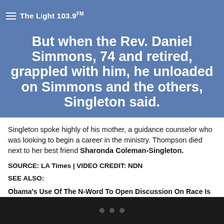The Light 103.9 FM
But when the Rev. Daniel Simmons, 74 and retired, grappled with him, he unloaded on Simmons and the others, Singleton said.
Singleton spoke highly of his mother, a guidance counselor who was looking to begin a career in the ministry. Thompson died next to her best friend Sharonda Coleman-Singleton.
SOURCE: LA Times | VIDEO CREDIT: NDN
SEE ALSO:
Obama's Use Of The N-Word To Open Discussion On Race Is Proving Nobody Really Wants To Have The Discussion At All